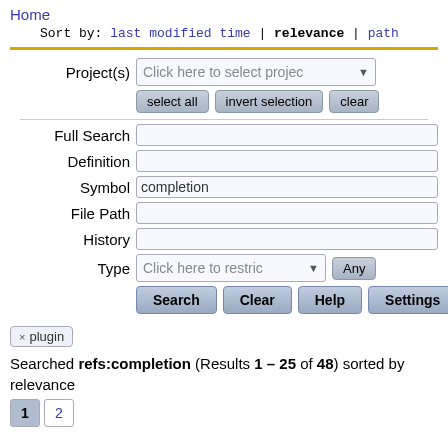Home
Sort by: last modified time | relevance | path
Project(s) Click here to select projec▼
select all  invert selection  clear
Full Search
Definition
Symbol  completion
File Path
History
Type  Click here to restric▼  Any
Search  Clear  Help  Settings
× plugin
Searched refs:completion (Results 1 – 25 of 48) sorted by relevance
1  2